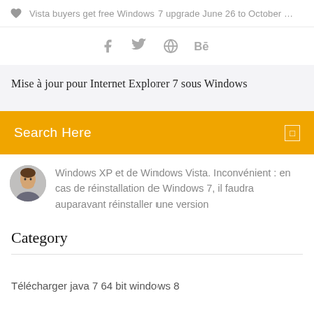Vista buyers get free Windows 7 upgrade June 26 to October …
[Figure (infographic): Social sharing icons: Facebook (f), Twitter (bird), a circular icon, and Behance (Be)]
Mise à jour pour Internet Explorer 7 sous Windows
Search Here
Windows XP et de Windows Vista. Inconvénient : en cas de réinstallation de Windows 7, il faudra auparavant réinstaller une version
Category
Télécharger java 7 64 bit windows 8